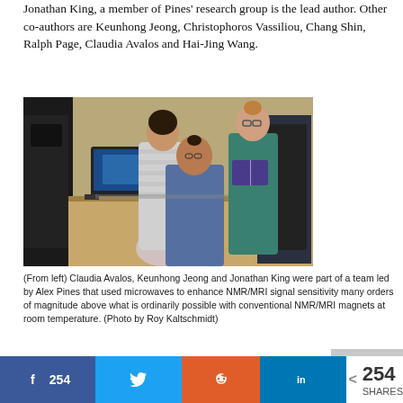Jonathan King, a member of Pines' research group is the lead author. Other co-authors are Keunhong Jeong, Christophoros Vassiliou, Chang Shin, Ralph Page, Claudia Avalos and Hai-Jing Wang.
[Figure (photo): Lab photo of three researchers (Claudia Avalos, Keunhong Jeong, Jonathan King) standing in a laboratory with NMR/MRI equipment, computers and instruments on a workbench.]
(From left) Claudia Avalos, Keunhong Jeong and Jonathan King were part of a team led by Alex Pines that used microwaves to enhance NMR/MRI signal sensitivity many orders of magnitude above what is ordinarily possible with conventional NMR/MRI magnets at room temperature. (Photo by Roy Kaltschmidt)
[Figure (other): Partial image visible at bottom right corner of page.]
Social share bar: Facebook 254, Twitter share, Reddit share, LinkedIn share, 254 SHARES